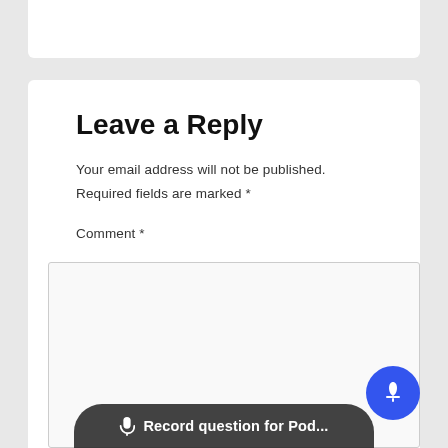[Figure (screenshot): Top portion of a white card, partially cropped, showing a dark image strip at the top (appears to be a photo of a person, cropped)]
Leave a Reply
Your email address will not be published.
Required fields are marked *
Comment *
[Figure (screenshot): Empty comment text area input box]
🎙 Record question for Pod...